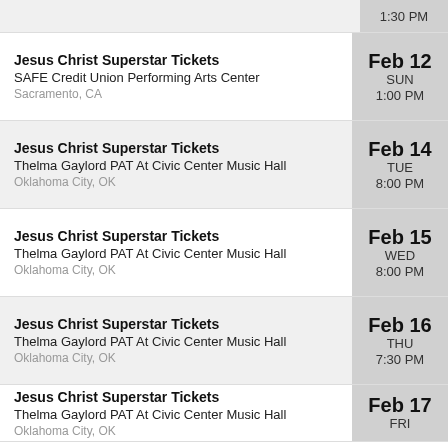1:30 PM (partial, top row)
Jesus Christ Superstar Tickets | SAFE Credit Union Performing Arts Center | Sacramento, CA | Feb 12 SUN 1:00 PM
Jesus Christ Superstar Tickets | Thelma Gaylord PAT At Civic Center Music Hall | Oklahoma City, OK | Feb 14 TUE 8:00 PM
Jesus Christ Superstar Tickets | Thelma Gaylord PAT At Civic Center Music Hall | Oklahoma City, OK | Feb 15 WED 8:00 PM
Jesus Christ Superstar Tickets | Thelma Gaylord PAT At Civic Center Music Hall | Oklahoma City, OK | Feb 16 THU 7:30 PM
Jesus Christ Superstar Tickets | Thelma Gaylord PAT At Civic Center Music Hall | Oklahoma City, OK | Feb 17 FRI